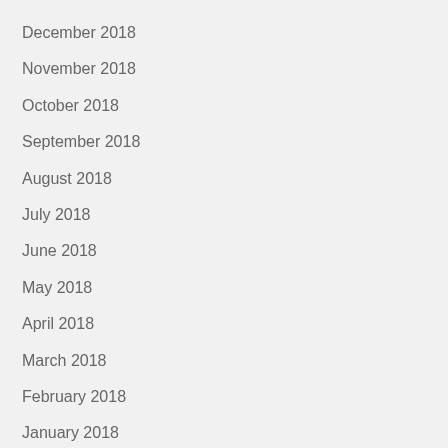December 2018
November 2018
October 2018
September 2018
August 2018
July 2018
June 2018
May 2018
April 2018
March 2018
February 2018
January 2018
December 2017
November 2017